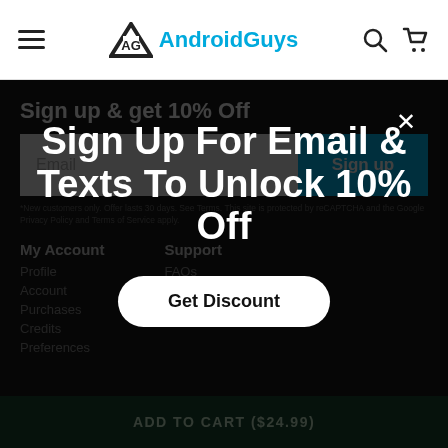AndroidGuys
Sign up & get 10% Off
Email
Sign up
*New customers only. Offer lasts 30 days. See Terms. This site is protected by reCAPTCHA and the Google Privacy Policy and Terms of Service apply.
My Account
Profile
Account
Purchases
Credits
Preferences
Support
FAQs
Shipping
Terms
Sign Up For Email & Texts To Unlock 10% Off
Get Discount
ADD TO CART ($24.99)